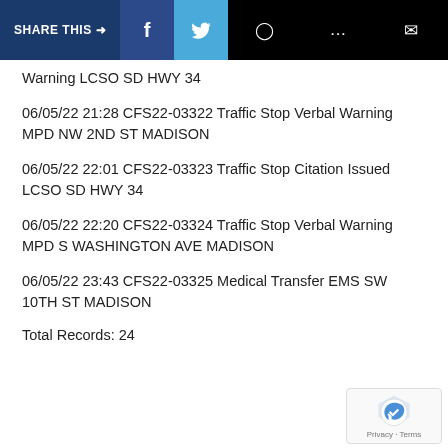SHARE THIS → f (Facebook) (Twitter) (WhatsApp) (Message) (Email)
Warning LCSO SD HWY 34
06/05/22 21:28 CFS22-03322 Traffic Stop Verbal Warning MPD NW 2ND ST MADISON
06/05/22 22:01 CFS22-03323 Traffic Stop Citation Issued LCSO SD HWY 34
06/05/22 22:20 CFS22-03324 Traffic Stop Verbal Warning MPD S WASHINGTON AVE MADISON
06/05/22 23:43 CFS22-03325 Medical Transfer EMS SW 10TH ST MADISON
Total Records: 24